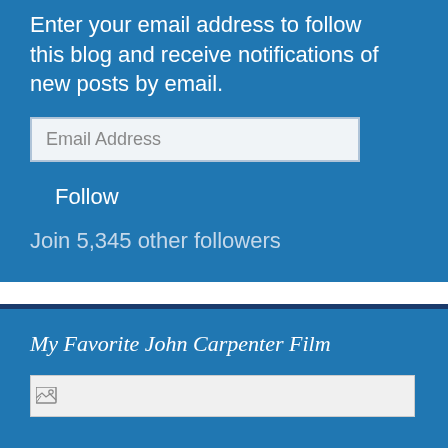Enter your email address to follow this blog and receive notifications of new posts by email.
Email Address
Follow
Join 5,345 other followers
My Favorite John Carpenter Film
[Figure (photo): Broken image placeholder]